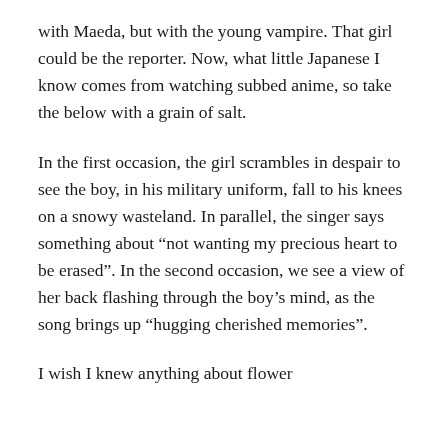with Maeda, but with the young vampire. That girl could be the reporter. Now, what little Japanese I know comes from watching subbed anime, so take the below with a grain of salt.
In the first occasion, the girl scrambles in despair to see the boy, in his military uniform, fall to his knees on a snowy wasteland. In parallel, the singer says something about “not wanting my precious heart to be erased”. In the second occasion, we see a view of her back flashing through the boy’s mind, as the song brings up “hugging cherished memories”.
I wish I knew anything about flower